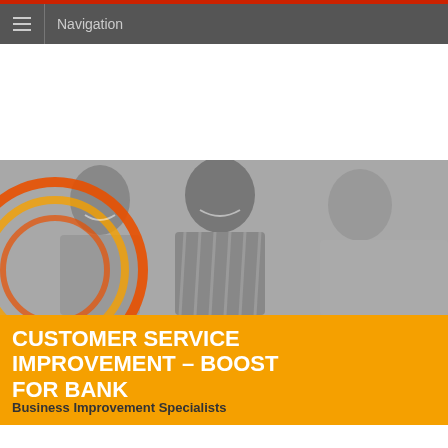Navigation
[Figure (photo): Black and white photo of smiling business professionals in a meeting, with orange circular graphic overlay on the left side]
CUSTOMER SERVICE IMPROVEMENT – BOOST FOR BANK
Business Improvement Specialists